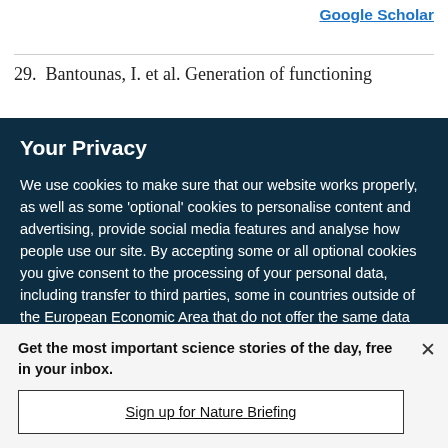Google Scholar
29.  Bantounas, I. et al. Generation of functioning
Your Privacy
We use cookies to make sure that our website works properly, as well as some ‘optional’ cookies to personalise content and advertising, provide social media features and analyse how people use our site. By accepting some or all optional cookies you give consent to the processing of your personal data, including transfer to third parties, some in countries outside of the European Economic Area that do not offer the same data protection standards as the country where you live. You can decide which optional cookies to accept by clicking on ‘Manage Settings’, where you can
Get the most important science stories of the day, free in your inbox.
Sign up for Nature Briefing